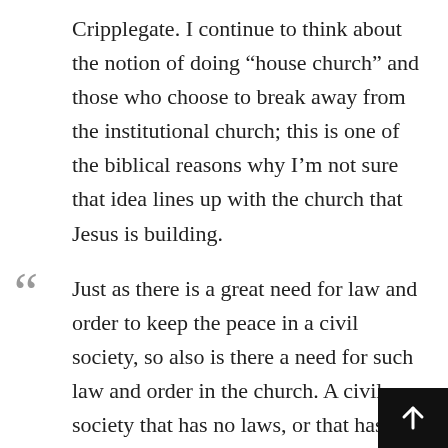Cripplegate. I continue to think about the notion of doing “house church” and those who choose to break away from the institutional church; this is one of the biblical reasons why I’m not sure that idea lines up with the church that Jesus is building.
Just as there is a great need for law and order to keep the peace in a civil society, so also is there a need for such law and order in the church. A civil society that has no laws, or that has no system of order to enforce those laws–no system to punish and rehabilitate offenders, is